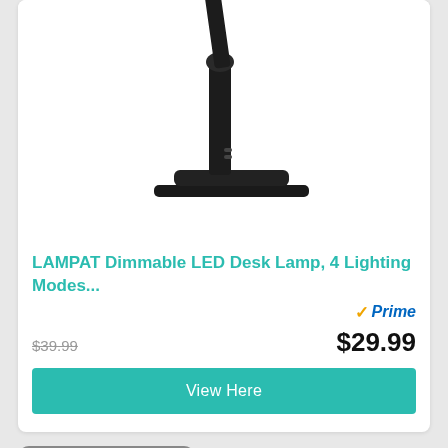[Figure (photo): Black LED desk lamp base and lower pole against white background]
LAMPAT Dimmable LED Desk Lamp, 4 Lighting Modes...
[Figure (logo): Amazon Prime badge with orange checkmark and blue italic Prime text]
$39.99 (strikethrough) $29.99
View Here
RECOMMENDATION NO. 9
[Figure (photo): Dark brown/charcoal product image, partially visible at bottom]